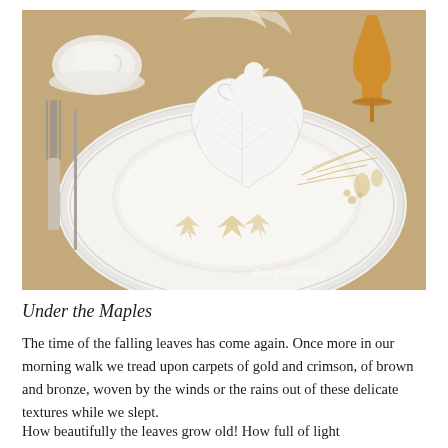[Figure (photo): A table setting photograph showing stacked white ceramic plates with gold botanical/pine needle motifs, topped with a white leaf-shaped ceramic dish and a small white bird figurine/creamer. A silver fork is visible on the left, and an amber stemmed glass is in the upper right. Watermark reads 'Back Porch Musings'.]
Under the Maples
The time of the falling leaves has come again. Once more in our morning walk we tread upon carpets of gold and crimson, of brown and bronze, woven by the winds or the rains out of these delicate textures while we slept.
How beautifully the leaves grow old! How full of light